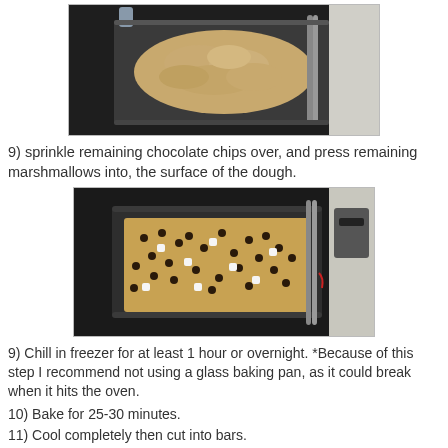[Figure (photo): Photo of cookie dough spread roughly in a dark baking pan on a stovetop, before toppings added.]
9) sprinkle remaining chocolate chips over, and press remaining marshmallows into, the surface of the dough.
[Figure (photo): Photo of cookie dough flattened in a dark baking pan with chocolate chips and mini marshmallows pressed into the surface.]
9) Chill in freezer for at least 1 hour or overnight. *Because of this step I recommend not using a glass baking pan, as it could break when it hits the oven.
10) Bake for 25-30 minutes.
11) Cool completely then cut into bars.